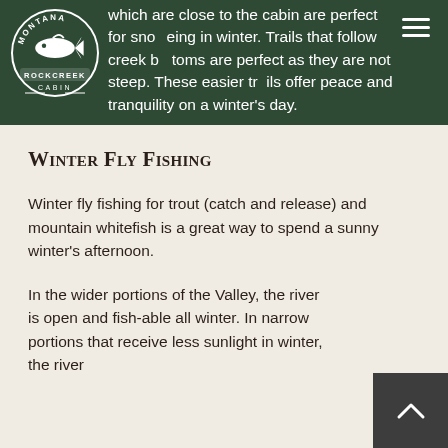which are close to the cabin are perfect for snowshoeing in winter. Trails that follow creek bottoms are perfect as they are not steep. These easier trails offer peace and tranquility on a winter's day.
[Figure (logo): Montana Rock Creek Cabin circular logo with fish illustration, white on dark green background]
Winter Fly Fishing
Winter fly fishing for trout (catch and release) and mountain whitefish is a great way to spend a sunny winter's afternoon.
In the wider portions of the Valley, the river is open and fish-able all winter. In narrow portions that receive less sunlight in winter, the river